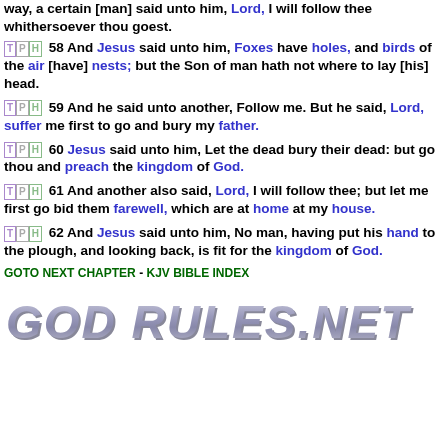way, a certain [man] said unto him, Lord, I will follow thee whithersoever thou goest.
58 And Jesus said unto him, Foxes have holes, and birds of the air [have] nests; but the Son of man hath not where to lay [his] head.
59 And he said unto another, Follow me. But he said, Lord, suffer me first to go and bury my father.
60 Jesus said unto him, Let the dead bury their dead: but go thou and preach the kingdom of God.
61 And another also said, Lord, I will follow thee; but let me first go bid them farewell, which are at home at my house.
62 And Jesus said unto him, No man, having put his hand to the plough, and looking back, is fit for the kingdom of God.
GOTO NEXT CHAPTER - KJV BIBLE INDEX
[Figure (logo): GOD RULES.NET logo in large italic metallic/grey text]